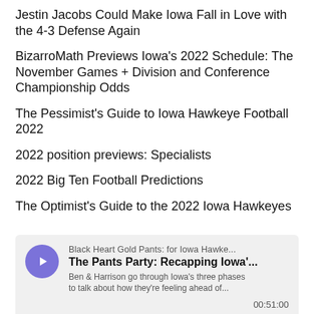Jestin Jacobs Could Make Iowa Fall in Love with the 4-3 Defense Again
BizarroMath Previews Iowa’s 2022 Schedule: The November Games + Division and Conference Championship Odds
The Pessimist’s Guide to Iowa Hawkeye Football 2022
2022 position previews: Specialists
2022 Big Ten Football Predictions
The Optimist’s Guide to the 2022 Iowa Hawkeyes
[Figure (other): Podcast player widget for 'Black Heart Gold Pants: for Iowa Hawke...' showing episode 'The Pants Party: Recapping Iowa\'...' with description 'Ben & Harrison go through Iowa\'s three phases to talk about how they\'re feeling ahead of...' Duration 00:51:00, waveform visualization, and footer with SHARE, SUBSCRIBE, COOKIE POLICY links and Megaphone logo]